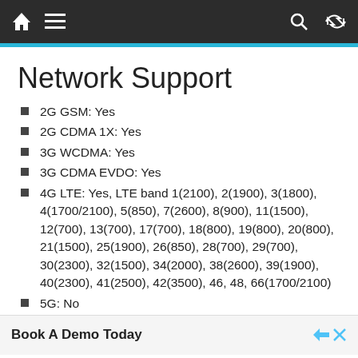Navigation bar with home, menu, search, shuffle icons
Network Support
2G GSM: Yes
2G CDMA 1X: Yes
3G WCDMA: Yes
3G CDMA EVDO: Yes
4G LTE: Yes, LTE band 1(2100), 2(1900), 3(1800), 4(1700/2100), 5(850), 7(2600), 8(900), 11(1500), 12(700), 13(700), 17(700), 18(800), 19(800), 20(800), 21(1500), 25(1900), 26(850), 28(700), 29(700), 30(2300), 32(1500), 34(2000), 38(2600), 39(1900), 40(2300), 41(2500), 42(3500), 46, 48, 66(1700/2100)
5G: No
Book A Demo Today
Open
Ad